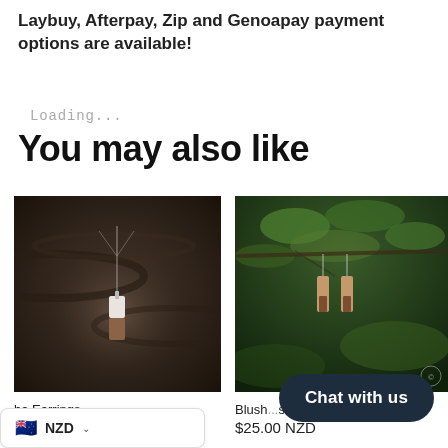Laybuy, Afterpay, Zip and Genoapay payment options are available!
Loading...
You may also like
[Figure (photo): A pendant necklace with a rectangular pendant half white/light and half dark wood, hanging on a chain against a dark moody wood background.]
[Figure (photo): Two long rectangular drop earrings in rose gold/copper and dark wood tones, hanging from a tree branch with green foliage in background.]
ba Earrings
$25.00 NZD
Blush...s
$25.00 NZD